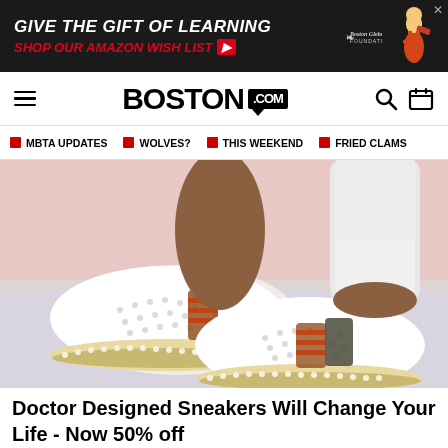[Figure (photo): Advertisement banner: 'GIVE THE GIFT OF LEARNING / SHOP OUR AMAZON WISH LIST' with Boston Globe Foundation logo and illustrated figure]
BOSTON.com
MBTA UPDATES
WOLVES?
THIS WEEKEND
FRIED CLAMS
[Figure (photo): Close-up photo of a person's feet wearing white slip-on sneakers with brown and striped accents, perforated upper, cork-style sole with pearl trim, against a pink/lavender background. Person is wearing white jeans.]
Doctor Designed Sneakers Will Change Your Life - Now 50% off